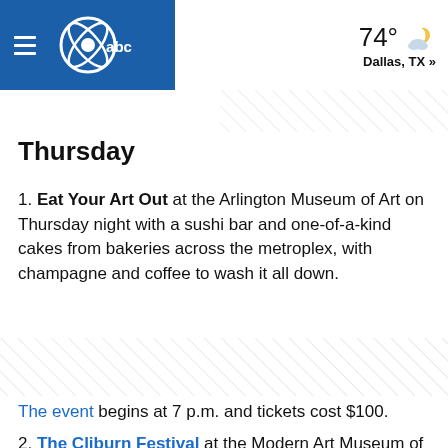WFAA abc | 74° Dallas, TX »
Thursday
1. Eat Your Art Out at the Arlington Museum of Art on Thursday night with a sushi bar and one-of-a-kind cakes from bakeries across the metroplex, with champagne and coffee to wash it all down.
The event begins at 7 p.m. and tickets cost $100.
2. The Cliburn Festival at the Modern Art Museum of Fort Worth begins Thursday and runs through Sunday with five concerts over four days to celebrate the 250th birthday of Beethoven.